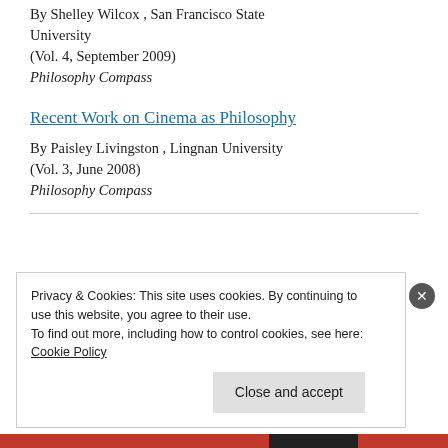By Shelley Wilcox , San Francisco State University
(Vol. 4, September 2009)
Philosophy Compass
Recent Work on Cinema as Philosophy
By Paisley Livingston , Lingnan University
(Vol. 3, June 2008)
Philosophy Compass
Privacy & Cookies: This site uses cookies. By continuing to use this website, you agree to their use.
To find out more, including how to control cookies, see here: Cookie Policy
Close and accept